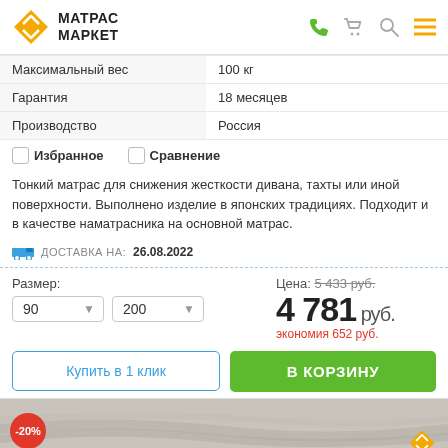[Figure (logo): Матрас Маркет logo with orange diamond and navigation icons]
| Максимальный вес | 100 кг |
| Гарантия | 18 месяцев |
| Производство | Россия |
Избранное
Сравнение
Тонкий матрас для снижения жесткости дивана, тахты или иной поверхности. Выполнено изделие в японских традициях. Подходит и в качестве наматрасника на основной матрас.
ДОСТАВКА на: 26.08.2022
Размер: 90 × 200
Цена: 5 433 руб. → 4 781 руб. экономия 652 руб.
Купить в 1 клик
В КОРЗИНУ
[Figure (photo): Promotional mattress image with -20% badge and Матрас Маркет logo]